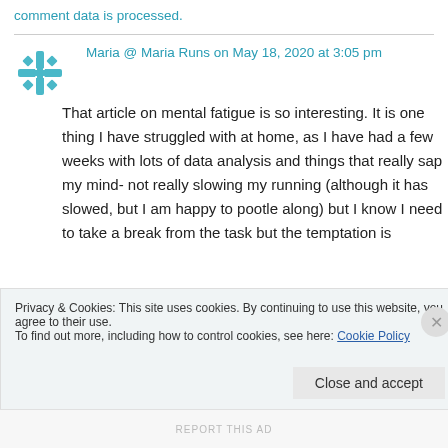comment data is processed.
Maria @ Maria Runs on May 18, 2020 at 3:05 pm
That article on mental fatigue is so interesting. It is one thing I have struggled with at home, as I have had a few weeks with lots of data analysis and things that really sap my mind- not really slowing my running (although it has slowed, but I am happy to pootle along) but I know I need to take a break from the task but the temptation is
Privacy & Cookies: This site uses cookies. By continuing to use this website, you agree to their use.
To find out more, including how to control cookies, see here: Cookie Policy
Close and accept